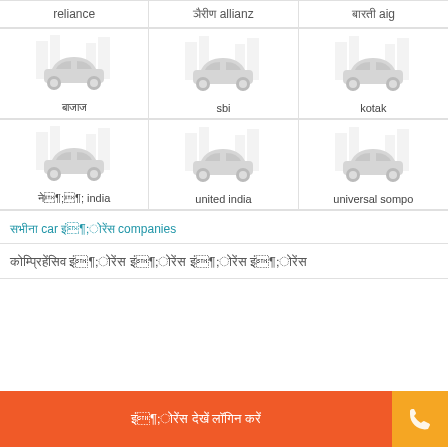[Figure (infographic): Grid of car insurance company logos/icons: row 1 shows reliance, allianz (with Hindi text), aig (with Hindi text); row 2 shows a Hindi-named company, sbi, kotak; row 3 shows a Hindi india company, united india, universal sompo. Each cell has a car illustration over a building background.]
सभी car इंश्योरेंस companies
कॉम्प्रिहेंसिव इंश्योरेंस इंश्योरेंस इंश्योरेंस इंश्योरेंस
इंश्योरेंस देखें लॉगिन करें
[Figure (infographic): Phone call button icon]